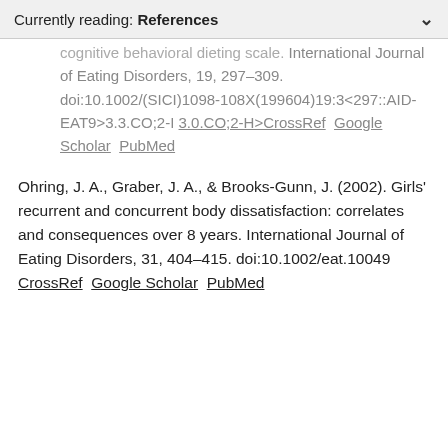Currently reading: References
cognitive behavioral dieting scale. International Journal of Eating Disorders, 19, 297–309. doi:10.1002/(SICI)1098-108X(199604)19:3<297::AID-EAT9>3.3.CO;2-I 3.0.CO;2-H>CrossRef  Google Scholar  PubMed
Ohring, J. A., Graber, J. A., & Brooks-Gunn, J. (2002). Girls' recurrent and concurrent body dissatisfaction: correlates and consequences over 8 years. International Journal of Eating Disorders, 31, 404–415. doi:10.1002/eat.10049 CrossRef  Google Scholar  PubMed